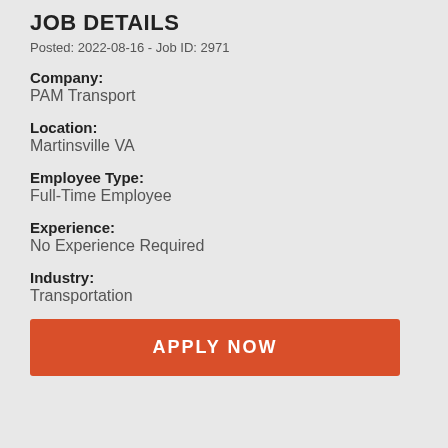JOB DETAILS
Posted: 2022-08-16 - Job ID: 2971
Company:
PAM Transport
Location:
Martinsville VA
Employee Type:
Full-Time Employee
Experience:
No Experience Required
Industry:
Transportation
APPLY NOW